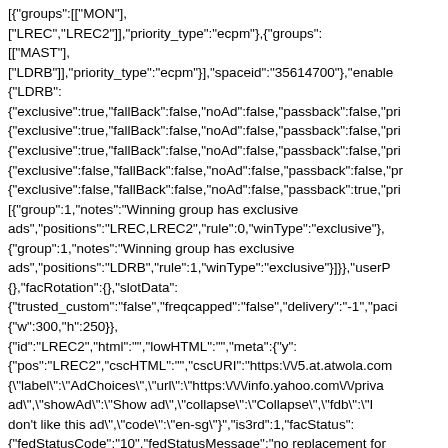[{"groups":[["MON"],
["LREC","LREC2"]],"priority_type":"ecpm"},{"groups":
[["MAST"],
["LDRB"]],"priority_type":"ecpm"}],"spaceid":"35614700"},"enable
{"LDRB":
{"exclusive":true,"fallBack":false,"noAd":false,"passback":false,"pri
{"exclusive":true,"fallBack":false,"noAd":false,"passback":false,"pri
{"exclusive":true,"fallBack":false,"noAd":false,"passback":false,"pri
{"exclusive":false,"fallBack":false,"noAd":false,"passback":false,"pr
{"exclusive":false,"fallBack":false,"noAd":false,"passback":true,"pri
[{"group":1,"notes":"Winning group has exclusive
ads","positions":"LREC,LREC2","rule":0,"winType":"exclusive"},
{"group":1,"notes":"Winning group has exclusive
ads","positions":"LDRB","rule":1,"winType":"exclusive"}]}},"userP
{},"facRotation":{},"slotData":
{"trusted_custom":"false","freqcapped":"false","delivery":"-1","paci
{"w":300,"h":250}},
{"id":"LREC2","html":"","lowHTML":"","meta":{"y":
{"pos":"LREC2","cscHTML":"","cscURI":"https:\/\/5.at.atwola.com
{\"label\":\"AdChoices\",\"url\":\"https:\\\/\\\/\\\/info.yahoo.com\\\/priva
ad\",\"showAd\":\"Show ad\",\"collapse\":\"Collapse\",\"fdb\":\"I
don't like this ad\",\"code\":\"en-sg\"}","is3rd":1,"facStatus":
{"fedStatusCode":"10","fedStatusMessage":"no replacement for
exclusive contract","exclusionStatus":{"effectiveConfiguration":
{"bucket":"*","handle":"35614700_SGNews","isLegacy":false,"rule